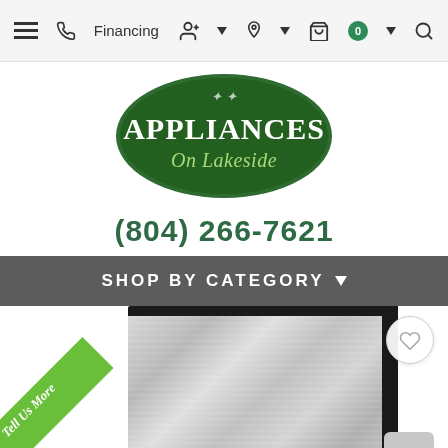Navigation bar with menu, phone, Financing, account, location, cart (0), and search icons
[Figure (logo): Appliances On Lakeside logo — green oval with white text 'APPLIANCES' and script 'On Lakeside']
(804) 266-7621
SHOP BY CATEGORY
[Figure (photo): Stainless steel appliance (refrigerator or freezer) with black trim, with a green diagonal 'Tell Us More' ribbon banner in the lower-left corner, a heart/wishlist icon top-right, and a scroll-to-top arrow button bottom-right]